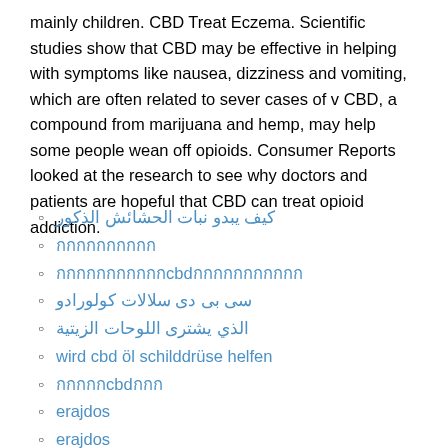mainly children. CBD Treat Eczema. Scientific studies show that CBD may be effective in helping with symptoms like nausea, dizziness and vomiting, which are often related to sever cases of v CBD, a compound from marijuana and hemp, may help some people wean off opioids. Consumer Reports looked at the research to see why doctors and patients are hopeful that CBD can treat opioid addiction.
كيف يبدو نبات الحشائش الذكور
กกกกกกกกกก
กกกกกกกกกกกcbdกกกกกกกกกกก
سی بی دی سلالات کولورادو
الذي يشتری اللوحات الزيتية
wird cbd öl schilddrüse helfen
กกกกกcbdกกก
erajdos
erajdos
erajdos